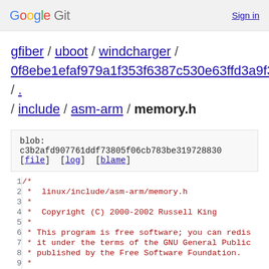Google Git  Sign in
gfiber / uboot / windcharger / 0f8ebe1efaf979a1f353f6387c530e63ffd3a9f3 / . / include / asm-arm / memory.h
blob: c3b2afd907761ddf73805f06cb783be319728830
[file]  [log]  [blame]
1	/*
2	*  linux/include/asm-arm/memory.h
3	*
4	*  Copyright (C) 2000-2002 Russell King
5	*
6	* This program is free software; you can redis
7	* it under the terms of the GNU General Public
8	* published by the Free Software Foundation.
9	*
10	* Note: this file should not be included by p